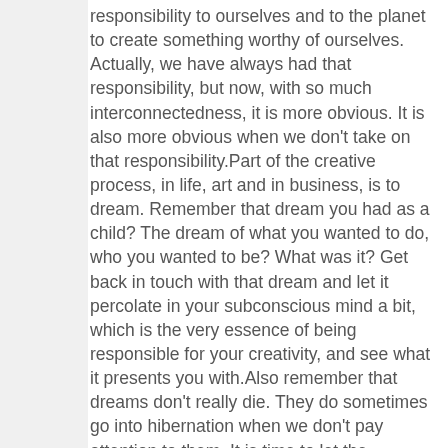responsibility to ourselves and to the planet to create something worthy of ourselves. Actually, we have always had that responsibility, but now, with so much interconnectedness, it is more obvious. It is also more obvious when we don't take on that responsibility.Part of the creative process, in life, art and in business, is to dream. Remember that dream you had as a child? The dream of what you wanted to do, who you wanted to be? What was it? Get back in touch with that dream and let it percolate in your subconscious mind a bit, which is the very essence of being responsible for your creativity, and see what it presents you with.Also remember that dreams don't really die. They do sometimes go into hibernation when we don't pay attention to them. It is time to let the hibernation of your dreams come to an end. Let the dreams percolate back to our